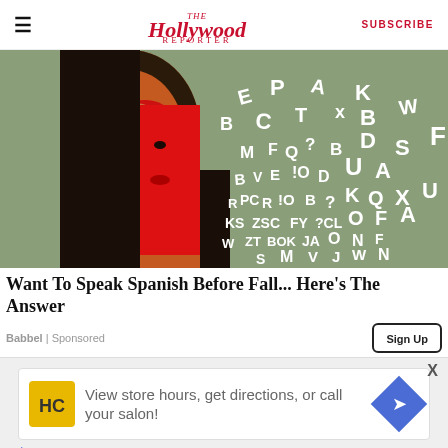The Hollywood Reporter | SUBSCRIBE
[Figure (photo): Woman with red paint on half her face surrounded by floating white letters on a teal background]
Want To Speak Spanish Before Fall... Here's The Answer
Babbel | Sponsored
[Figure (infographic): Advertisement: View store hours, get directions, or call your salon! with HC logo and navigation arrow icon]